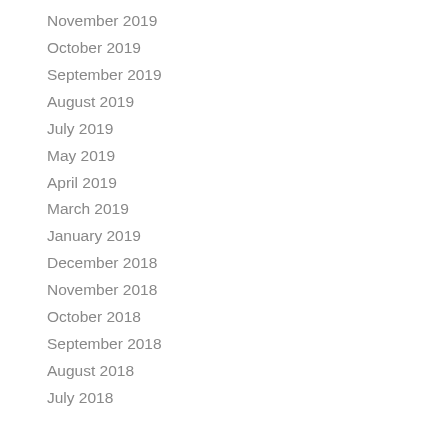November 2019
October 2019
September 2019
August 2019
July 2019
May 2019
April 2019
March 2019
January 2019
December 2018
November 2018
October 2018
September 2018
August 2018
July 2018